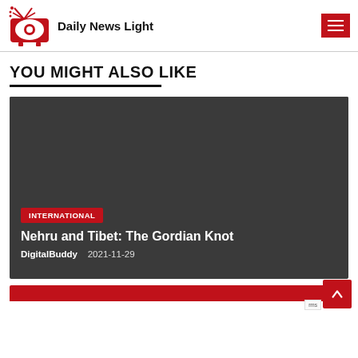Daily News Light
YOU MIGHT ALSO LIKE
[Figure (screenshot): Dark grey article card with red INTERNATIONAL tag, article title 'Nehru and Tibet: The Gordian Knot', author DigitalBuddy, date 2021-11-29]
INTERNATIONAL
Nehru and Tibet: The Gordian Knot
DigitalBuddy    2021-11-29